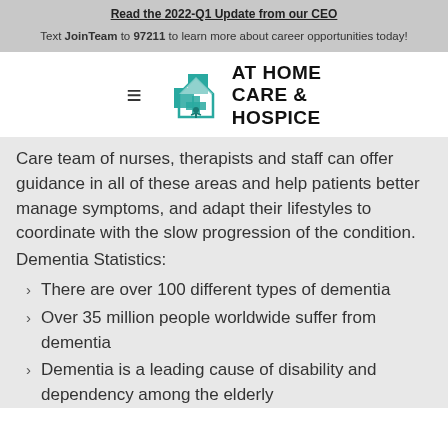Read the 2022-Q1 Update from our CEO
Text JoinTeam to 97211 to learn more about career opportunities today!
[Figure (logo): At Home Care & Hospice logo with teal house/cross icon and bold black text]
Care team of nurses, therapists and staff can offer guidance in all of these areas and help patients better manage symptoms, and adapt their lifestyles to coordinate with the slow progression of the condition.
Dementia Statistics:
There are over 100 different types of dementia
Over 35 million people worldwide suffer from dementia
Dementia is a leading cause of disability and dependency among the elderly